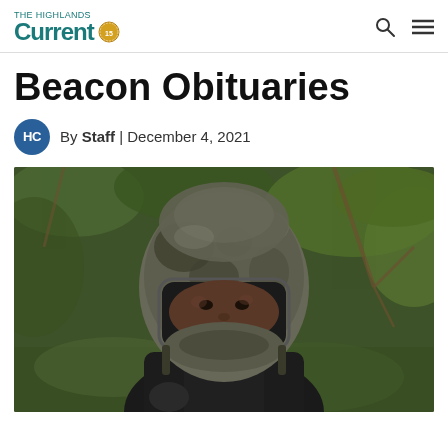The Highlands Current — By Staff | December 4, 2021
Beacon Obituaries
By Staff | December 4, 2021
[Figure (photo): A man wearing a camouflage motorcycle helmet and black motorcycle gear, photographed outdoors with green foliage/brush in the background. The man appears to be taking a selfie-style photo. The helmet has a flip-up visor and grey/camo pattern.]